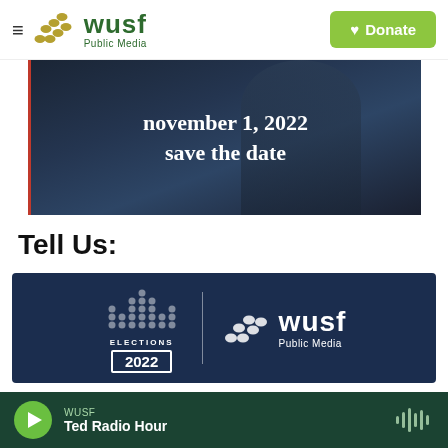WUSF Public Media — ♥ Donate
[Figure (photo): Dark photo of a person in a navy blazer with overlaid text 'november 1, 2022 save the date']
Tell Us:
[Figure (logo): Elections 2022 | WUSF Public Media logo on dark navy background]
WUSF — Ted Radio Hour (audio player with play button)